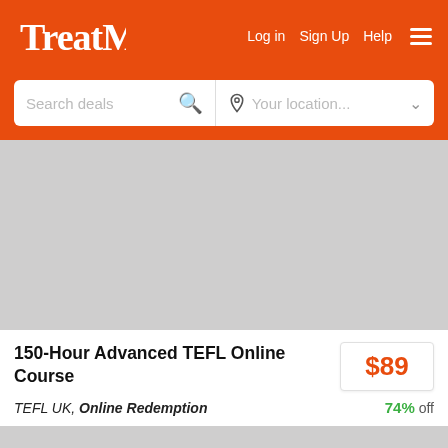TreatMe — Log in  Sign Up  Help
[Figure (screenshot): Search bar with 'Search deals' input and 'Your location...' dropdown on orange background]
[Figure (photo): Gray placeholder image for deal product photo (top)]
150-Hour Advanced TEFL Online Course
$89
TEFL UK, Online Redemption — 74% off
[Figure (photo): Gray placeholder image for deal product photo (bottom)]